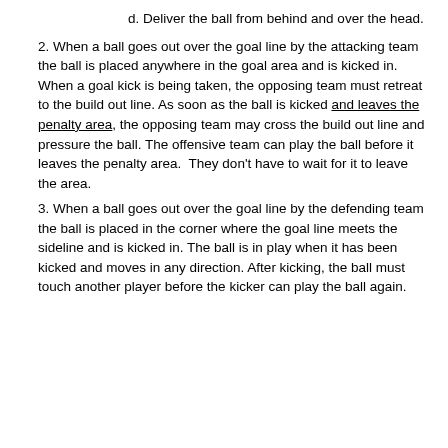or behind the sideline.
c. Hold the ball with both hands.
d. Deliver the ball from behind and over the head.
2. When a ball goes out over the goal line by the attacking team the ball is placed anywhere in the goal area and is kicked in. When a goal kick is being taken, the opposing team must retreat to the build out line. As soon as the ball is kicked and leaves the penalty area, the opposing team may cross the build out line and pressure the ball. The offensive team can play the ball before it leaves the penalty area.  They don't have to wait for it to leave the area.
3. When a ball goes out over the goal line by the defending team the ball is placed in the corner where the goal line meets the sideline and is kicked in. The ball is in play when it has been kicked and moves in any direction. After kicking, the ball must touch another player before the kicker can play the ball again.